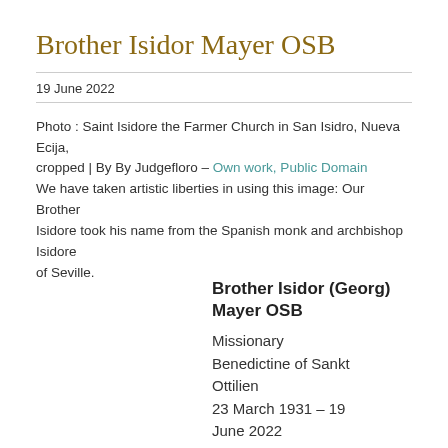Brother Isidor Mayer OSB
19 June 2022
Photo : Saint Isidore the Farmer Church in San Isidro, Nueva Ecija, cropped | By By Judgefloro – Own work, Public Domain
We have taken artistic liberties in using this image: Our Brother Isidore took his name from the Spanish monk and archbishop Isidore of Seville.
Brother Isidor (Georg) Mayer OSB
Missionary
Benedictine of Sankt Ottilien
23 March 1931 – 19 June 2022